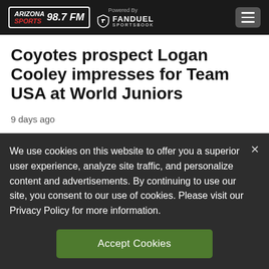Arizona Sports 98.7 FM | Powered By FanDuel Sportsbook
Coyotes prospect Logan Cooley impresses for Team USA at World Juniors
9 days ago
We use cookies on this website to offer you a superior user experience, analyze site traffic, and personalize content and advertisements. By continuing to use our site, you consent to our use of cookies. Please visit our Privacy Policy for more information.
Accept Cookies